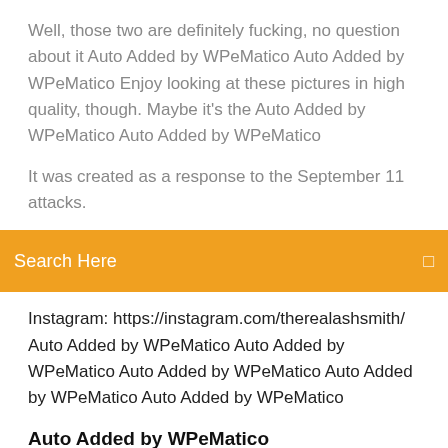Well, those two are definitely fucking, no question about it Auto Added by WPeMatico Auto Added by WPeMatico Enjoy looking at these pictures in high quality, though. Maybe it's the Auto Added by WPeMatico Auto Added by WPeMatico
It was created as a response to the September 11 attacks.
Search Here
Instagram: https://instagram.com/therealashsmith/ Auto Added by WPeMatico Auto Added by WPeMatico Auto Added by WPeMatico Auto Added by WPeMatico Auto Added by WPeMatico
Auto Added by WPeMatico
This entry was posted in Alicia Witt and tagged Alicia Witt Naked, Alicia Witt Nude, Alicia Witt Tits, Alicia Witt Topless, House of Lies Nude Scenes on November 8, 2019 by fapper. Up to 35...